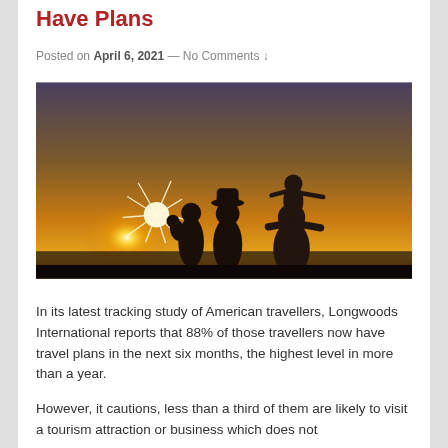Have Plans
Posted on April 6, 2021 — No Comments ↓
[Figure (photo): Family silhouette at sunset: a woman holding a baby, a man wearing a hat, and a man with a girl on his shoulders, arms spread wide, against a bright golden sunset sky.]
In its latest tracking study of American travellers, Longwoods International reports that 88% of those travellers now have travel plans in the next six months, the highest level in more than a year.
However, it cautions, less than a third of them are likely to visit a tourism attraction or business which does not